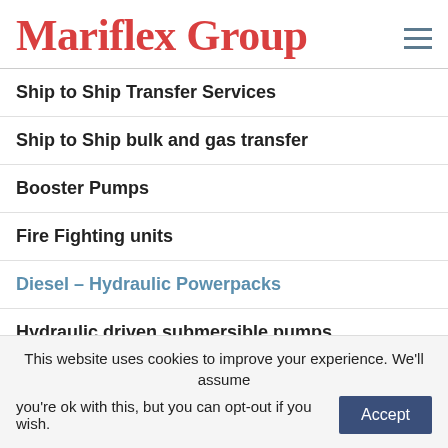Mariflex Group
Ship to Ship Transfer Services
Ship to Ship bulk and gas transfer
Booster Pumps
Fire Fighting units
Diesel – Hydraulic Powerpacks
Hydraulic driven submersible pumps
Liquid cargo Filters
This website uses cookies to improve your experience. We'll assume you're ok with this, but you can opt-out if you wish.